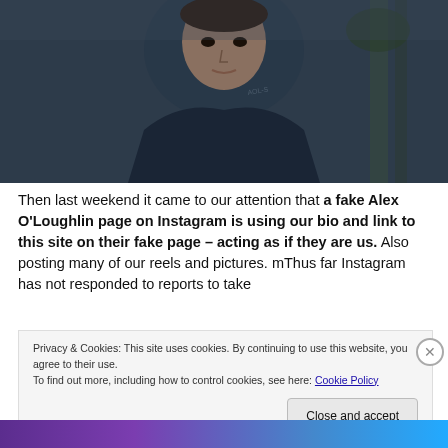[Figure (photo): Close-up photo of a man wearing a dark navy polo shirt with 'AOL-S' text on the collar, sitting in front of a blurred tropical background with palm trees.]
Then last weekend it came to our attention that a fake Alex O'Loughlin page on Instagram is using our bio and link to this site on their fake page – acting as if they are us.  Also posting many of our reels and pictures. mThus far Instagram has not responded to reports to take
Privacy & Cookies: This site uses cookies. By continuing to use this website, you agree to their use.
To find out more, including how to control cookies, see here: Cookie Policy
Close and accept